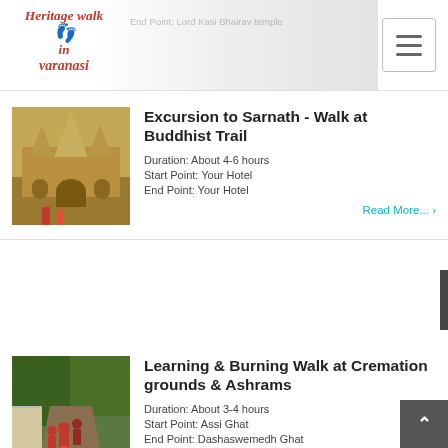[Figure (logo): Heritage Walk in Varanasi logo with red italic text and footprint icon]
End Point: Lord Kasi Bhairav temple
Excursion to Sarnath - Walk at Buddhist Trail
[Figure (photo): Photo of a historic temple building with ornate architecture]
Duration: About 4-6 hours
Start Point: Your Hotel
End Point: Your Hotel
Read More... ›
Learning & Burning Walk at Cremation grounds & Ashrams
[Figure (photo): Photo of people walking in a line through a tree-lined path]
Duration: About 3-4 hours
Start Point: Assi Ghat
End Point: Dashaswemedh Ghat
Read More... ›